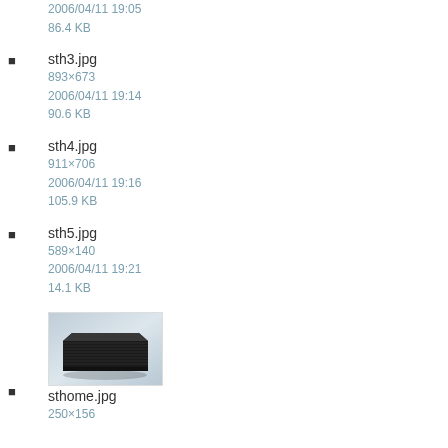2006/04/11 19:05
86.4 KB
sth3.jpg
893×673
2006/04/11 19:14
90.6 KB
sth4.jpg
911×706
2006/04/11 19:16
105.9 KB
sth5.jpg
589×140
2006/04/11 19:21
14.1 KB
[Figure (photo): Thumbnail image of a black flat networking device/router]
sthome.jpg
250×156